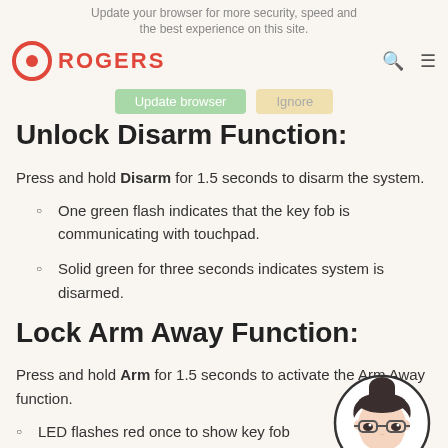Update your browser for more security, speed and the best experience on this site.
Unlock Disarm Function:
Press and hold Disarm for 1.5 seconds to disarm the system.
One green flash indicates that the key fob is communicating with touchpad.
Solid green for three seconds indicates system is disarmed.
Lock Arm Away Function:
Press and hold Arm for 1.5 seconds to activate the Arm Away function.
LED flashes red once to show key fob
[Figure (illustration): Circular avatar illustration of a woman with glasses, dark hair in a bun, and red lips]